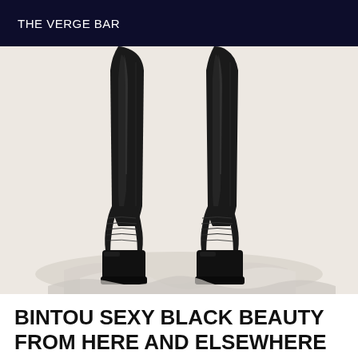THE VERGE BAR
[Figure (photo): Close-up photograph of a person wearing tall black leather thigh-high platform boots with zipper details, standing against a white background with white fabric on the floor.]
BINTOU SEXY BLACK BEAUTY FROM HERE AND ELSEWHERE